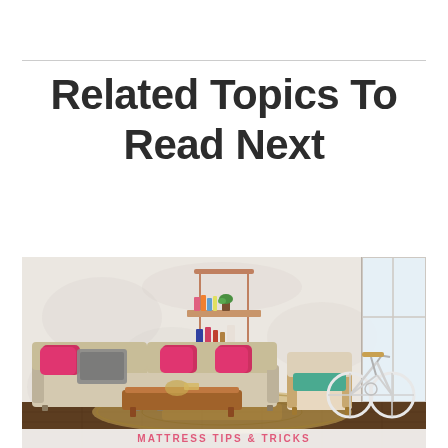Related Topics To Read Next
[Figure (photo): Interior room scene with a beige sectional sofa with pink/red pillows and gray throw, a wooden coffee table, a wooden armchair with teal cushion, a white bicycle leaning against the wall, a floating wall shelf with books and a small plant, large window on the right, concrete-look white wall, and a patterned rug on dark wood floor. At the bottom, a banner reads 'MATTRESS TIPS & TRICKS']
MATTRESS TIPS & TRICKS